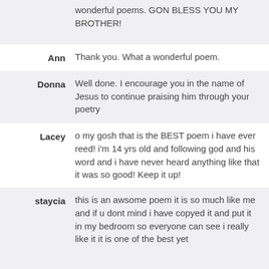wonderful poems. GON BLESS YOU MY BROTHER!
Ann: Thank you. What a wonderful poem.
Donna: Well done. I encourage you in the name of Jesus to continue praising him through your poetry
Lacey: o my gosh that is the BEST poem i have ever reed! i'm 14 yrs old and following god and his word and i have never heard anything like that it was so good! Keep it up!
staycia: this is an awsome poem it is so much like me and if u dont mind i have copyed it and put it in my bedroom so everyone can see i really like it it is one of the best yet